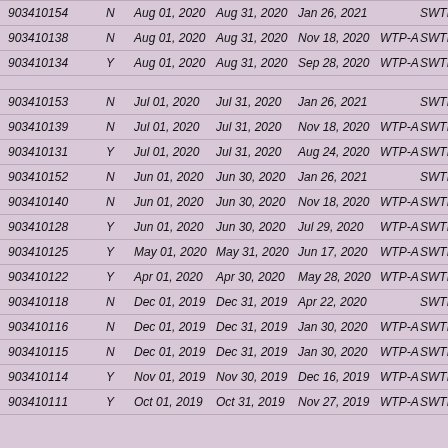| 903410154 | N | Aug 01, 2020 | Aug 31, 2020 | Jan 26, 2021 |  | SWTR |
| 903410138 | N | Aug 01, 2020 | Aug 31, 2020 | Nov 18, 2020 | WTP-A | SWTR |
| 903410134 | Y | Aug 01, 2020 | Aug 31, 2020 | Sep 28, 2020 | WTP-A | SWTR |
| 903410153 | N | Jul 01, 2020 | Jul 31, 2020 | Jan 26, 2021 |  | SWTR |
| 903410139 | N | Jul 01, 2020 | Jul 31, 2020 | Nov 18, 2020 | WTP-A | SWTR |
| 903410131 | Y | Jul 01, 2020 | Jul 31, 2020 | Aug 24, 2020 | WTP-A | SWTR |
| 903410152 | N | Jun 01, 2020 | Jun 30, 2020 | Jan 26, 2021 |  | SWTR |
| 903410140 | N | Jun 01, 2020 | Jun 30, 2020 | Nov 18, 2020 | WTP-A | SWTR |
| 903410128 | Y | Jun 01, 2020 | Jun 30, 2020 | Jul 29, 2020 | WTP-A | SWTR |
| 903410125 | Y | May 01, 2020 | May 31, 2020 | Jun 17, 2020 | WTP-A | SWTR |
| 903410122 | Y | Apr 01, 2020 | Apr 30, 2020 | May 28, 2020 | WTP-A | SWTR |
| 903410118 | N | Dec 01, 2019 | Dec 31, 2019 | Apr 22, 2020 |  | SWTR |
| 903410116 | N | Dec 01, 2019 | Dec 31, 2019 | Jan 30, 2020 | WTP-A | SWTR |
| 903410115 | N | Dec 01, 2019 | Dec 31, 2019 | Jan 30, 2020 | WTP-A | SWTR |
| 903410114 | Y | Nov 01, 2019 | Nov 30, 2019 | Dec 16, 2019 | WTP-A | SWTR |
| 903410111 | Y | Oct 01, 2019 | Oct 31, 2019 | Nov 27, 2019 | WTP-A | SWTR |